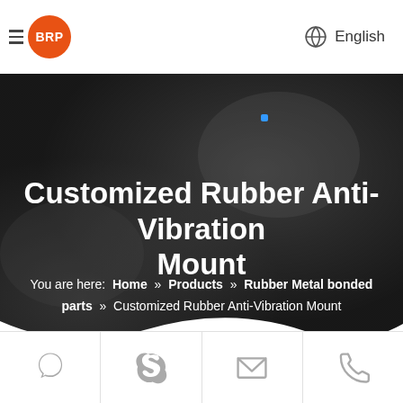BRP | English
Customized Rubber Anti-Vibration Mount
You are here: Home » Products » Rubber Metal bonded parts » Customized Rubber Anti-Vibration Mount
[Figure (screenshot): Dark hero banner background with gradient from charcoal to near-black]
Icon bar with QQ, Skype, Email, Phone icons